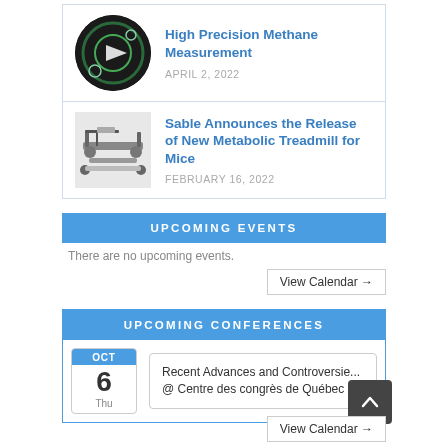[Figure (photo): Methane measurement circular image with play button]
High Precision Methane Measurement
APRIL 2, 2022
[Figure (photo): Metabolic treadmill for mice device image]
Sable Announces the Release of New Metabolic Treadmill for Mice
FEBRUARY 16, 2022
UPCOMING EVENTS
There are no upcoming events.
View Calendar →
UPCOMING CONFERENCES
Recent Advances and Controversie... @ Centre des congrès de Québec
OCT 6 Thu
View Calendar →